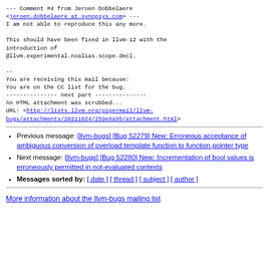--- Comment #4 from Jeroen Dobbelaere <jeroen.dobbelaere at synopsys.com> ---
I am not able to reproduce this any more.

This should have been fixed in llvm-12 with the introduction of @llvm.experimental.noalias.scope.decl.

--
You are receiving this mail because:
You are on the CC list for the bug.
--------------- next part ---------------
An HTML attachment was scrubbed...
URL: <http://lists.llvm.org/pipermail/llvm-bugs/attachments/20211024/259e8a95/attachment.html>
Previous message: [llvm-bugs] [Bug 52279] New: Erroneous acceptance of ambiguous conversion of overload template function to function pointer type
Next message: [llvm-bugs] [Bug 52280] New: Incrementation of bool values is erroneously permitted in not-evaluated contexts
Messages sorted by: [ date ] [ thread ] [ subject ] [ author ]
More information about the llvm-bugs mailing list